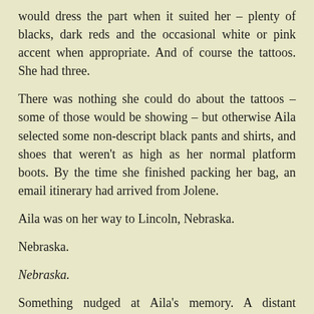would dress the part when it suited her – plenty of blacks, dark reds and the occasional white or pink accent when appropriate. And of course the tattoos. She had three.
There was nothing she could do about the tattoos – some of those would be showing – but otherwise Aila selected some non-descript black pants and shirts, and shoes that weren't as high as her normal platform boots. By the time she finished packing her bag, an email itinerary had arrived from Jolene.
Aila was on her way to Lincoln, Nebraska.
Nebraska.
Nebraska.
Something nudged at Aila's memory. A distant memory of something Latvian in Nebraska.